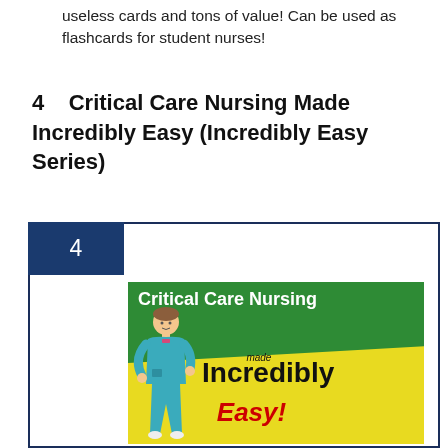useless cards and tons of value! Can be used as flashcards for student nurses!
4    Critical Care Nursing Made Incredibly Easy (Incredibly Easy Series)
[Figure (illustration): Book cover for 'Critical Care Nursing Made Incredibly Easy' showing green top section with white bold title text, yellow/green diagonal section below with 'made Incredibly Easy!' text in black and red italic, and a cartoon nurse figure on the lower left. The number 4 appears in a dark blue badge in the upper left corner of the card frame.]